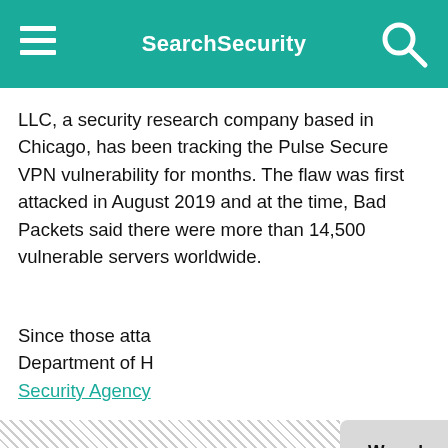SearchSecurity
LLC, a security research company based in Chicago, has been tracking the Pulse Secure VPN vulnerability for months. The flaw was first attacked in August 2019 and at the time, Bad Packets said there were more than 14,500 vulnerable servers worldwide.
Since those atta... Department of H... Security Agency...
On Jan. 3, Bad P... recent scan foun... Pulse Secure fla... notified Travelex... VPN servers in S... response.
[Figure (screenshot): Cookie consent modal dialog with title 'We value your privacy.' containing privacy notice text, manage your settings and Privacy Policy links, and OK and Settings buttons]